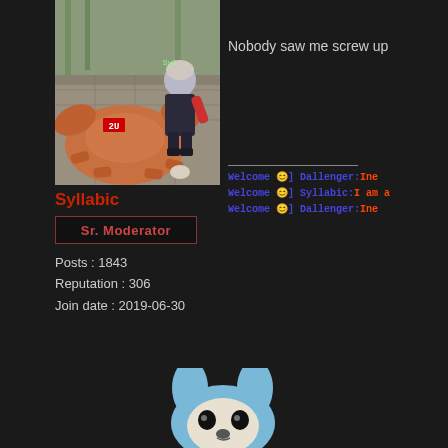[Figure (screenshot): Game screenshot showing a player character fighting a large crab enemy on a stone floor background]
Syllabic
Sr. Moderator
Posts : 1843
Reputation : 306
Join date : 2019-06-30
Nobody saw me screw up
[Welcome 😊] Dallenger: Ine
[Welcome 😊] Syllabic: I am a
[Welcome 😊] Dallenger: Ine
[Figure (photo): Blue plushie toy animal (wolf or dog) head visible at bottom of page]